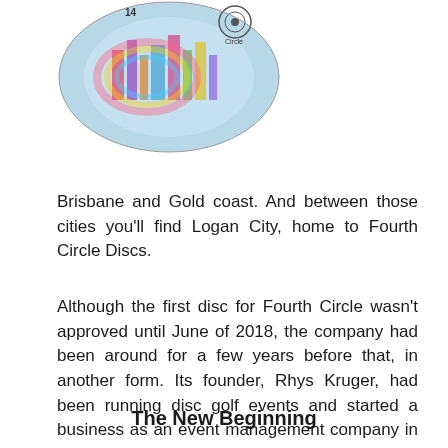[Figure (photo): A colorful disc golf disc with city skyline and circular design, showing '4th Circle' branding and vibrant rainbow holographic colors.]
Brisbane and Gold coast. And between those cities you’ll find Logan City, home to Fourth Circle Discs.
Although the first disc for Fourth Circle wasn’t approved until June of 2018, the company had been around for a few years before that, in another form. Its founder, Rhys Kruger, had been running disc golf events and started a business as an event management company in 2014. Those events led to the beginning of the top tier tournament, the Gold Coast Classic.
The New Beginning